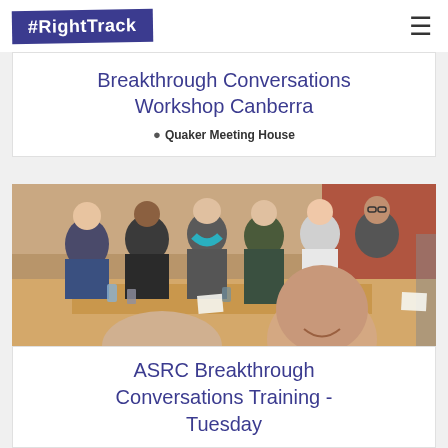#RightTrack
Breakthrough Conversations Workshop Canberra
Quaker Meeting House
[Figure (photo): Group of people seated in a circle at a workshop, engaged in conversation. Multiple participants visible including women and men of various ages, some holding papers. Room has beige/tan walls.]
ASRC Breakthrough Conversations Training - Tuesday